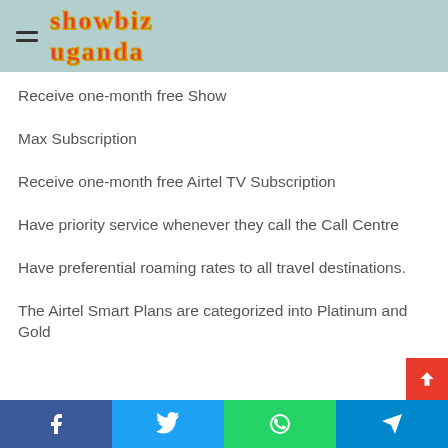showbiz uganda
Receive one-month free Show
Max Subscription
Receive one-month free Airtel TV Subscription
Have priority service whenever they call the Call Centre
Have preferential roaming rates to all travel destinations.
The Airtel Smart Plans are categorized into Platinum and Gold